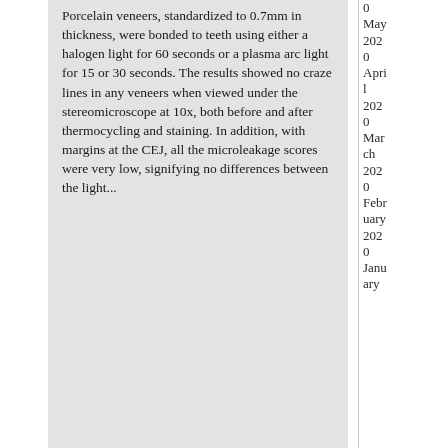Porcelain veneers, standardized to 0.7mm in thickness, were bonded to teeth using either a halogen light for 60 seconds or a plasma arc light for 15 or 30 seconds. The results showed no craze lines in any veneers when viewed under the stereomicroscope at 10x, both before and after thermocycling and staining. In addition, with margins at the CEJ, all the microleakage scores were very low, signifying no differences between the light...
0
May 2020
April 2020
March 2020
February 2020
January